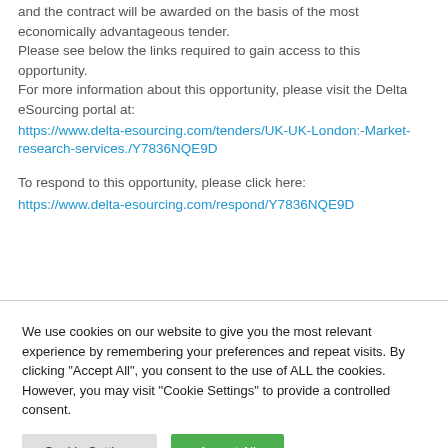and the contract will be awarded on the basis of the most economically advantageous tender.
Please see below the links required to gain access to this opportunity.
For more information about this opportunity, please visit the Delta eSourcing portal at:
https://www.delta-esourcing.com/tenders/UK-UK-London:-Market-research-services./Y7836NQE9D

To respond to this opportunity, please click here:
https://www.delta-esourcing.com/respond/Y7836NQE9D
We use cookies on our website to give you the most relevant experience by remembering your preferences and repeat visits. By clicking "Accept All", you consent to the use of ALL the cookies. However, you may visit "Cookie Settings" to provide a controlled consent.